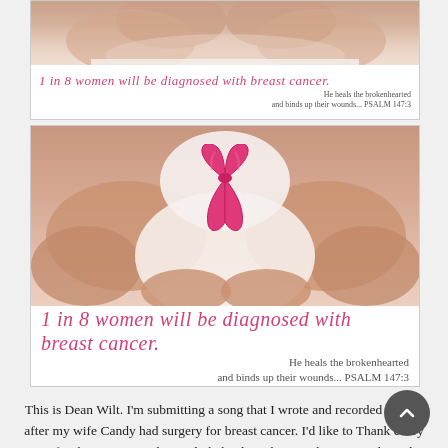[Figure (photo): Top image showing hands forming a heart shape over a chest, with a pink ribbon awareness image. Text overlay reads '1 in 8 women will be diagnosed with breast cancer.' and 'He heals the brokenhearted and binds up their wounds... PSALM 147:3']
[Figure (photo): Larger image showing hands forming a heart shape over a chest with a pink breast cancer awareness ribbon visible. Text overlay reads '1 in 8 women will be diagnosed with breast cancer.' and 'He heals the brokenhearted and binds up their wounds... PSALM 147:3']
This is Dean Wilt. I'm submitting a song that I wrote and recorded shortly after my wife Candy had surgery for breast cancer. I'd like to Thank every one for their prayers. They truly helped. Right now she's going through chemo. Candy gets really tired from it, but she's a trooper. And I'm so grateful to still have her. This being October and Breast Cancer Awareness